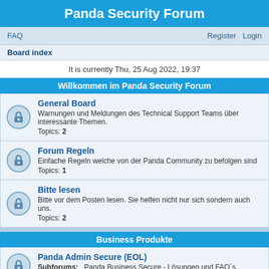Panda Security Forum
FAQ    Register    Login
Board index
It is currently Thu, 25 Aug 2022, 19:37
Willkommen im Panda Security Forum
General Board
Warnungen und Meldungen des Technical Support Teams über interessante Themen.
Topics: 2
Forum Regeln
Einfache Regeln welche von der Panda Community zu befolgen sind
Topics: 1
Bitte lesen
Bitte vor dem Posten lesen. Sie helfen nicht nur sich sondern auch uns.
Topics: 2
Business Produkte
Panda Admin Secure (EOL)
Subforums: Panda Business Secure - Lösungen und FAQ´s, Panda Business Secure - Fehler, Panda Business Secure - Archive Issues
Topics: 23
Adaptiv Defense / Panda Endpoint Protection